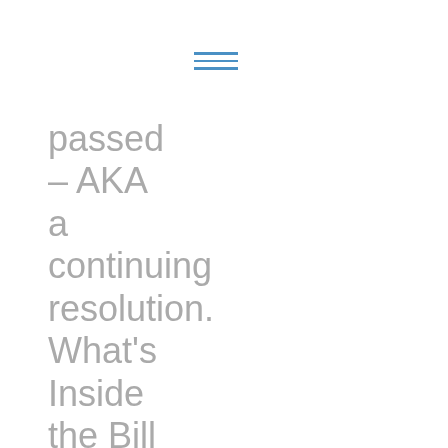[Figure (other): Hamburger menu icon with three horizontal blue lines]
passed – AKA a continuing resolution. What's Inside the Bill So Far: 1. $600